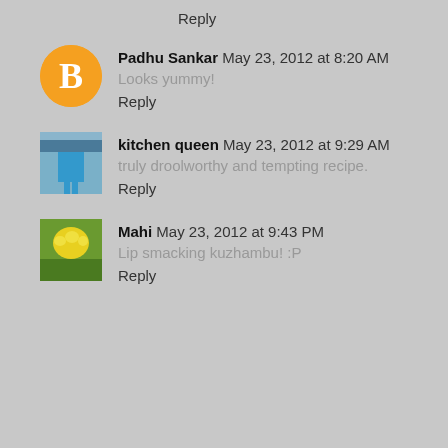Reply
Padhu Sankar May 23, 2012 at 8:20 AM
Looks yummy!
Reply
kitchen queen May 23, 2012 at 9:29 AM
truly droolworthy and tempting recipe.
Reply
Mahi May 23, 2012 at 9:43 PM
Lip smacking kuzhambu! :P
Reply